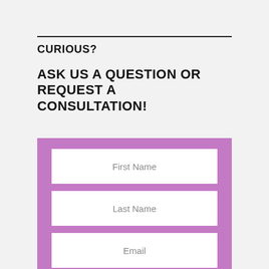CURIOUS?
ASK US A QUESTION OR REQUEST A CONSULTATION!
[Figure (other): Contact form with purple background containing fields: First Name, Last Name, Email, Date/Time?]